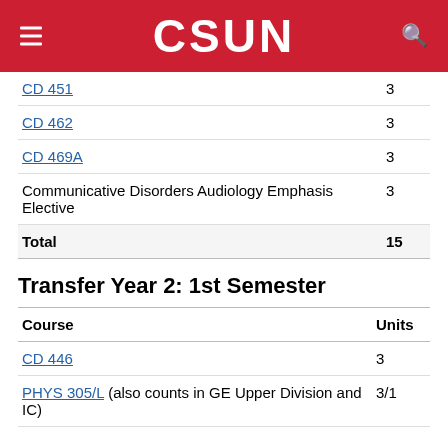CSUN
| Course | Units |
| --- | --- |
| CD 451 | 3 |
| CD 462 | 3 |
| CD 469A | 3 |
| Communicative Disorders Audiology Emphasis Elective | 3 |
| Total | 15 |
Transfer Year 2: 1st Semester
| Course | Units |
| --- | --- |
| CD 446 | 3 |
| PHYS 305/L (also counts in GE Upper Division and IC) | 3/1 |